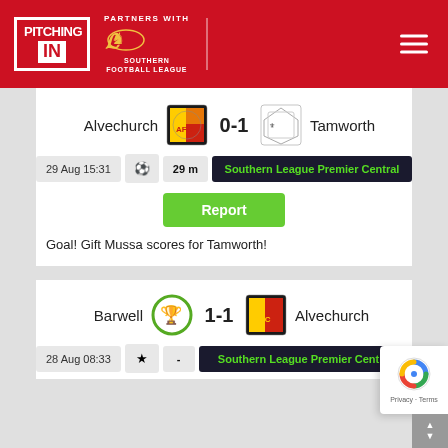[Figure (logo): Pitching In logo with red border and white text on red background]
[Figure (logo): Partners with Southern Football League lion logo]
Alvechurch 0-1 Tamworth
29 Aug 15:31 | 29 m | Southern League Premier Central
Report
Goal! Gift Mussa scores for Tamworth!
Barwell 1-1 Alvechurch
28 Aug 08:33 | - | Southern League Premier Central